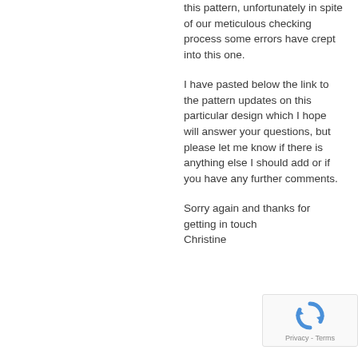this pattern, unfortunately in spite of our meticulous checking process some errors have crept into this one.
I have pasted below the link to the pattern updates on this particular design which I hope will answer your questions, but please let me know if there is anything else I should add or if you have any further comments.
Sorry again and thanks for getting in touch
Christine
[Figure (other): reCAPTCHA privacy and terms badge with rotating arrow icon]